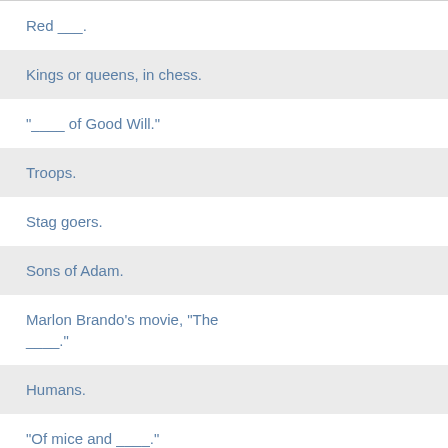Red ___.
Kings or queens, in chess.
"____ of Good Will."
Troops.
Stag goers.
Sons of Adam.
Marlon Brando's movie, "The ____"."
Humans.
"Of mice and ____."